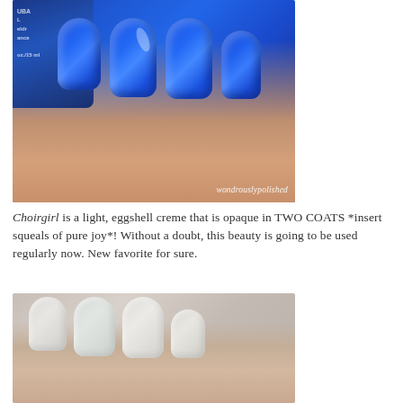[Figure (photo): Close-up photograph of hand with bright royal blue nail polish, holding a blue nail polish bottle labeled with partial text visible. Watermark reads 'wondrouslypolished' in the lower right.]
Choirgirl is a light, eggshell creme that is opaque in TWO COATS *insert squeals of pure joy*! Without a doubt, this beauty is going to be used regularly now. New favorite for sure.
[Figure (photo): Close-up photograph of hand with light, nude/cream colored nail polish on nails.]